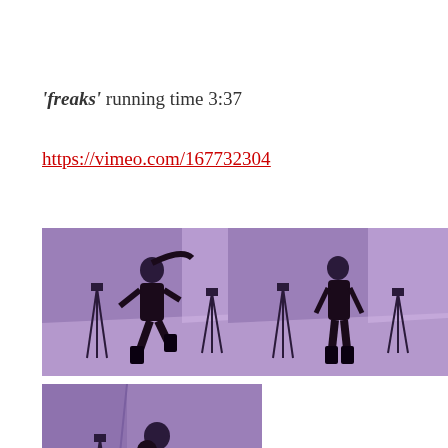'freaks' running time 3:37
https://vimeo.com/167732304
[Figure (photo): Video still: person dancing in black outfit in purple-lit white room with camera tripods]
[Figure (photo): Video still: person standing in black outfit in purple-lit white room with camera tripods]
[Figure (photo): Video still: person dancing/crouching in black outfit in purple-lit white room with camera tripod]